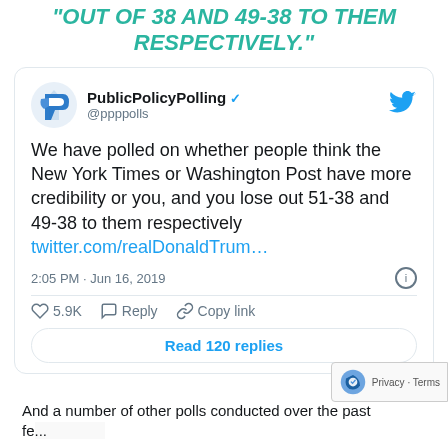OUT OF 38 AND 49-38 TO THEM RESPECTIVELY."
[Figure (screenshot): Tweet from @ppppolls (PublicPolicyPolling) stating: 'We have polled on whether people think the New York Times or Washington Post have more credibility or you, and you lose out 51-38 and 49-38 to them respectively twitter.com/realDonaldTrum…' posted at 2:05 PM · Jun 16, 2019 with 5.9K likes, Reply, and Copy link options, and a Read 120 replies button.]
And a number of other polls conducted over the past fe...